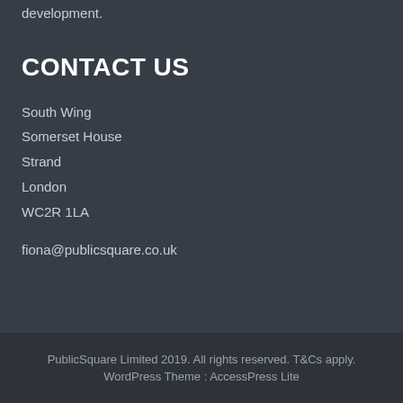development.
CONTACT US
South Wing
Somerset House
Strand
London
WC2R 1LA
fiona@publicsquare.co.uk
PublicSquare Limited 2019. All rights reserved. T&Cs apply.
WordPress Theme : AccessPress Lite